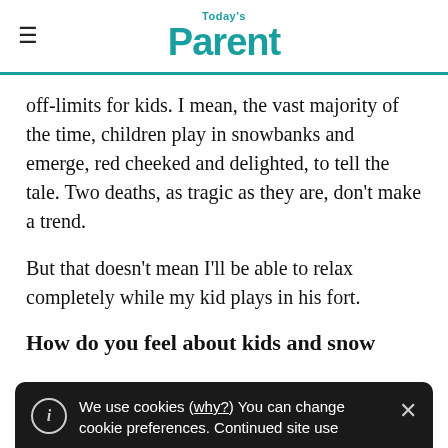Today's Parent
off-limits for kids. I mean, the vast majority of the time, children play in snowbanks and emerge, red cheeked and delighted, to tell the tale. Two deaths, as tragic as they are, don't make a trend.
But that doesn't mean I'll be able to relax completely while my kid plays in his fort.
How do you feel about kids and snow
We use cookies (why?) You can change cookie preferences. Continued site use